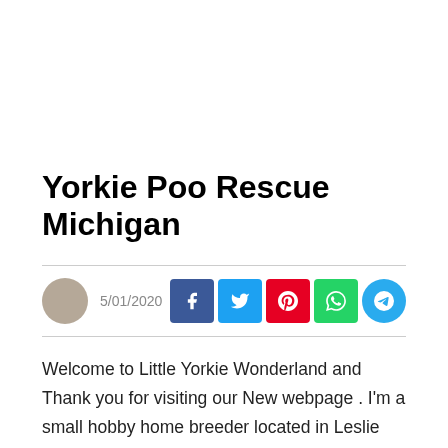Yorkie Poo Rescue Michigan
5/01/2020
Welcome to Little Yorkie Wonderland and Thank you for visiting our New webpage . I'm a small hobby home breeder located in Leslie Michigan specializing on breeding adorable healthy Toy & Standard size Yorkshire Terrier puppies breed only. I strive to raise healthy, happy. adorable, affection and best quality possible that gets